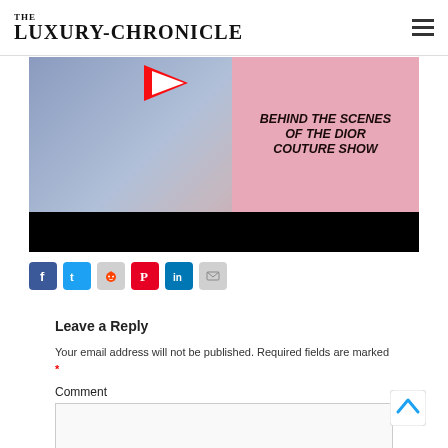THE LUXURY-CHRONICLE
[Figure (screenshot): YouTube video thumbnail showing behind the scenes of the Dior Couture Show, with a play button and pink panel with text 'BEHIND THE SCENES OF THE DIOR COUTURE SHOW']
[Figure (infographic): Social share icons row: Facebook, Twitter, Reddit, Pinterest, LinkedIn, Email]
Leave a Reply
Your email address will not be published. Required fields are marked *
Comment
[Figure (screenshot): Empty comment text area input field]